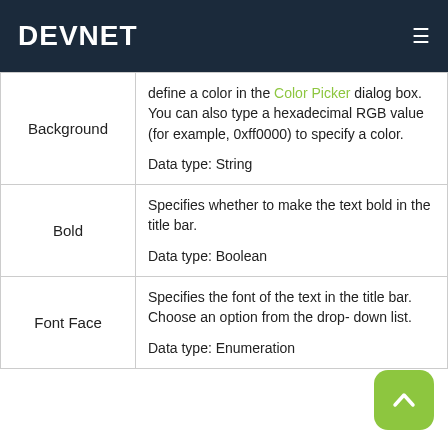DEVNET
| Field | Description |
| --- | --- |
| Background | define a color in the Color Picker dialog box. You can also type a hexadecimal RGB value (for example, 0xff0000) to specify a color.

Data type: String |
| Bold | Specifies whether to make the text bold in the title bar.

Data type: Boolean |
| Font Face | Specifies the font of the text in the title bar. Choose an option from the drop-down list.

Data type: Enumeration |